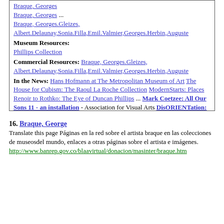Braque, Georges ... Braque, Georges.Gleizes, Albert.Delaunay,Sonia.Filla,Emil.Valmier,Georges.Herbin,Auguste
Museum Resources: Phillips Collection
Commercial Resources: Braque, Georges.Gleizes, Albert.Delaunay,Sonia.Filla,Emil.Valmier,Georges.Herbin,Auguste
In the News: Hans Hofmann at The Metropolitan Museum of Art The House for Cubism: The Raoul La Roche Collection ModernStarts: Places Renoir to Rothko: The Eye of Duncan Phillips ... Mark Coetzee: All Our Sons 11 - an installation - Association for Visual Arts DisORIENTation: Contemporary Artistic Productions from the Near East - House of World Cultures Works By Shirin Neshat - Miami Art Museum Sandra Sunnyo Lee: Self No Self - Meditation Paintings - Andrew Bae Gallery False Innocence: Exploring the Fundamental Issues of Contemporary Art - Joan Miro Foundation Terrorist Art: Protesting War - Polvo Art Studio Call for Artists: Don't Trust Anyone Over Thirty - Real Art Ways Toko Shinoda Variations of Vermillion - Hara Museum of Contemporary Art Bridging the Border: Shared Themes in Mexican and U.S. Art 1900 – 1950
16. Braque, George
Translate this page Páginas en la red sobre el artista braque en las colecciones de museosdel mundo, enlaces a otras páginas sobre el artista e imágenes.
http://www.banrep.gov.co/blaavirtual/donacion/masinter/braque.htm